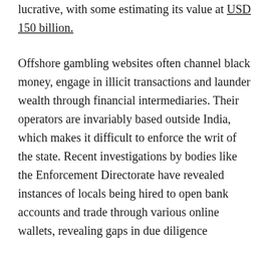lucrative, with some estimating its value at USD 150 billion.
Offshore gambling websites often channel black money, engage in illicit transactions and launder wealth through financial intermediaries. Their operators are invariably based outside India, which makes it difficult to enforce the writ of the state. Recent investigations by bodies like the Enforcement Directorate have revealed instances of locals being hired to open bank accounts and trade through various online wallets, revealing gaps in due diligence